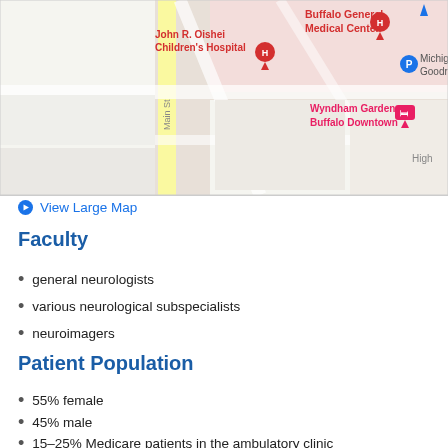[Figure (map): Google Maps screenshot showing Buffalo General Medical Center, John R. Oishei Children's Hospital, Wyndham Garden Buffalo Downtown, Michigan Goodrich Garage, and Main St.]
View Large Map
Faculty
general neurologists
various neurological subspecialists
neuroimagers
Patient Population
55% female
45% male
15–25% Medicare patients in the ambulatory clinic